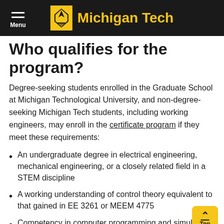Menu | Michigan Tech
Who qualifies for the program?
Degree-seeking students enrolled in the Graduate School at Michigan Technological University, and non-degree-seeking Michigan Tech students, including working engineers, may enroll in the certificate program if they meet these requirements:
An undergraduate degree in electrical engineering, mechanical engineering, or a closely related field in a STEM discipline
A working understanding of control theory equivalent to that gained in EE 3261 or MEEM 4775
Competency in computer programming and simulation tools (for example, MATLAB)